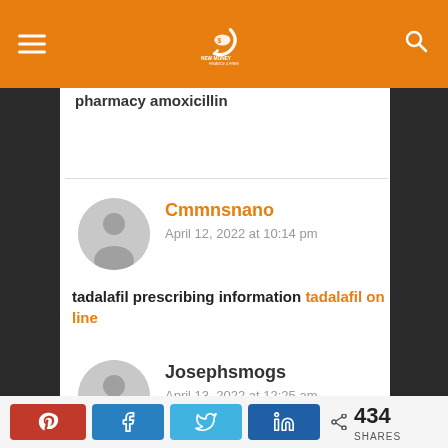New Money Finance & Free
pharmacy amoxicillin
Cmmnsnano
April 12, 2022 at 10:14 pm
tadalafil prescribing information tadalafil on line
Josephsmogs
April 13, 2022 at 12:25 am
clomid pills online uk can you buy clomid over the counter in mexico buy clomid online safely uk
434 SHARES